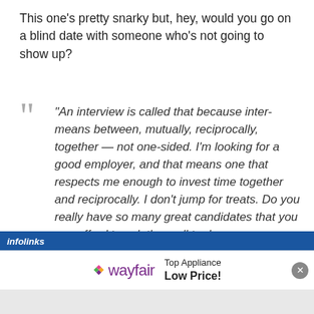This one's pretty snarky but, hey, would you go on a blind date with someone who's not going to show up?
“An interview is called that because inter- means between, mutually, reciprocally, together — not one-sided. I’m looking for a good employer, and that means one that respects me enough to invest time together and reciprocally. I don’t jump for treats. Do you really have so many great candidates that you can afford to ask them all to do tricks before you’ll interview them?
[Figure (screenshot): Infolinks advertisement bar with blue background]
[Figure (screenshot): Wayfair banner ad with text: Top Appliance Low Price!]